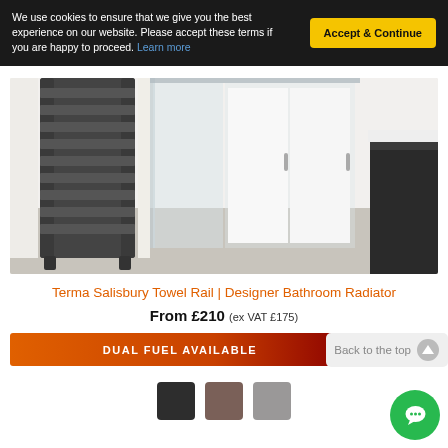We use cookies to ensure that we give you the best experience on our website. Please accept these terms if you are happy to proceed. Learn more
[Figure (photo): A modern bathroom showing a dark grey ladder towel rail radiator on the left, a glass shower enclosure in the center, white wardrobe doors, and a dark vanity unit on the right with light grey tiled floor.]
Terma Salisbury Towel Rail | Designer Bathroom Radiator
From £210 (ex VAT £175)
DUAL FUEL AVAILABLE
Back to the top